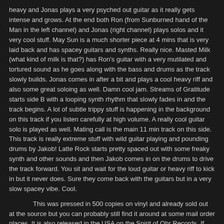heavy and Jonas plays a very psyched out guitar as it really gets intense and grows. At the end both Ron (from Sunburned hand of the Man in the left channel) and Jonas (right channel) plays solos and it very cool stuff. May Sun is a much shorter piece at 4 mins that is very laid back and has spacey guitars and synths. Really nice. Masted Milk (what kind of milk is that?) has Ron's guitar with a very mutilated and tortured sound as he goes along with the bass and drums as the track slowly builds. Jonas comes in after a bit and plays a cool heavy riff and also some great soloing as well. Damn cool jam. Streams of Gratitude starts side B with a looping synth rhythm that slowly fades in and the track begins. A lot of subtle trippy stuff is happening in the background on this track if you listen carefully at high volume. A really cool guitar solo is played as well. Mating call is the main 11 min track on this side. This track is really extreme stuff with wild guitar playing and pounding drums by Jakob! Latte Rock starts pretty spaced out with some freaky synth and other sounds and then Jakob comes in on the drums to drive the track forward. You sit and wait for the loud guitar or heavy riff to kick in but it never does. Sure they come back with the guitars but in a very slow spacey vibe. Cool.
This was pressed in 500 copies on vinyl and already sold out at the source but you can probably still find it around at some mail order places. It is also released in the USA on the Spirit of Ohr Records. If you are a fan of the band like some of the heavier stuff, then check this out!  Oh yeah.. Volume 2 just came out..
http://www.causasui.com